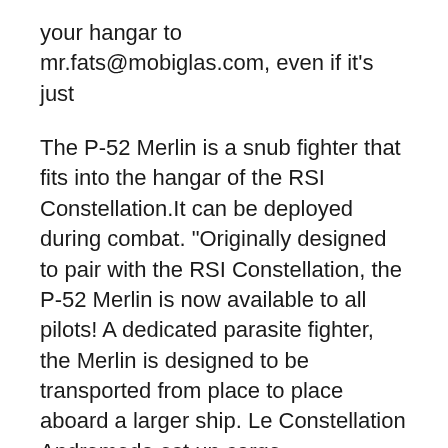your hangar to mr.fats@mobiglas.com, even if it's just
The P-52 Merlin is a snub fighter that fits into the hangar of the RSI Constellation.It can be deployed during combat. "Originally designed to pair with the RSI Constellation, the P-52 Merlin is now available to all pilots! A dedicated parasite fighter, the Merlin is designed to be transported from place to place aboard a larger ship. Le Constellation Andromeda est un cargo manE”uvrГ© par Г©quipage et le vaisseau le plus populaire fabriquГ© par Roberts Space Industries.Ces Constellations sont apprГ©ciГ©s par les contrebandiers comme par les